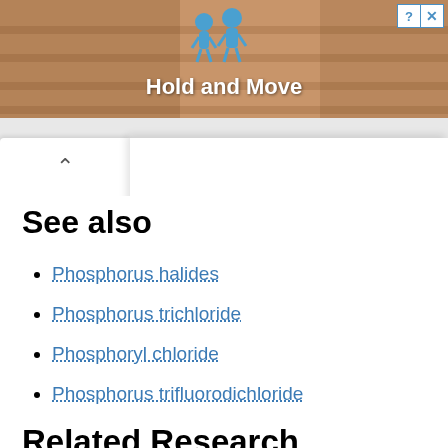[Figure (screenshot): Advertisement banner showing 'Hold and Move' game with stylized figures on a staircase background, with close and help buttons in top right corner]
See also
Phosphorus halides
Phosphorus trichloride
Phosphoryl chloride
Phosphorus trifluorodichloride
Related Research Articles